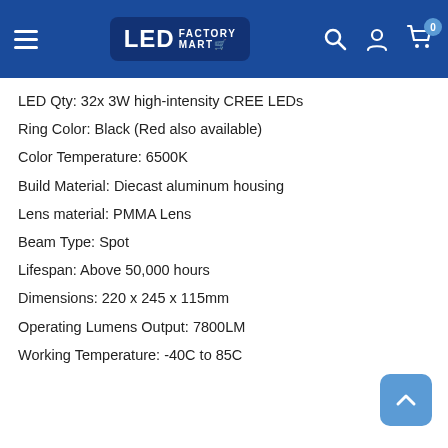LED Factory Mart
LED Qty: 32x 3W high-intensity CREE LEDs
Ring Color: Black (Red also available)
Color Temperature: 6500K
Build Material: Diecast aluminum housing
Lens material: PMMA Lens
Beam Type: Spot
Lifespan: Above 50,000 hours
Dimensions: 220 x 245 x 115mm
Operating Lumens Output: 7800LM
Working Temperature: -40C to 85C